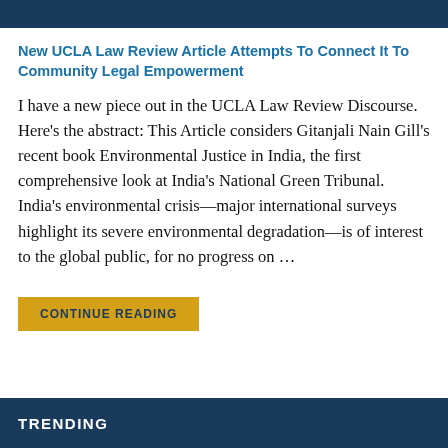New UCLA Law Review Article Attempts To Connect It To Community Legal Empowerment
I have a new piece out in the UCLA Law Review Discourse. Here’s the abstract: This Article considers Gitanjali Nain Gill’s recent book Environmental Justice in India, the first comprehensive look at India’s National Green Tribunal.  India’s environmental crisis—major international surveys highlight its severe environmental degradation—is of interest to the global public, for no progress on …
CONTINUE READING
TRENDING